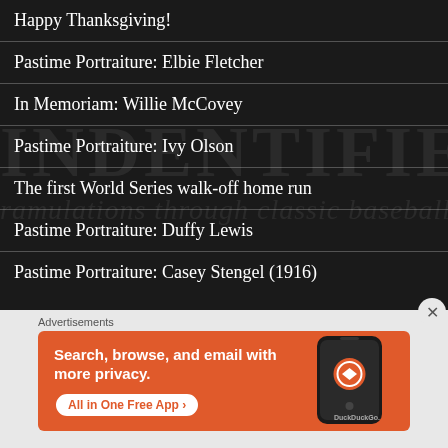Happy Thanksgiving!
Pastime Portraiture: Elbie Fletcher
In Memoriam: Willie McCovey
Pastime Portraiture: Ivy Olson
The first World Series walk-off home run
Pastime Portraiture: Duffy Lewis
Pastime Portraiture: Casey Stengel (1916)
Advertisements
[Figure (illustration): DuckDuckGo advertisement banner with orange background showing 'Search, browse, and email with more privacy. All in One Free App' with a phone graphic and DuckDuckGo logo]